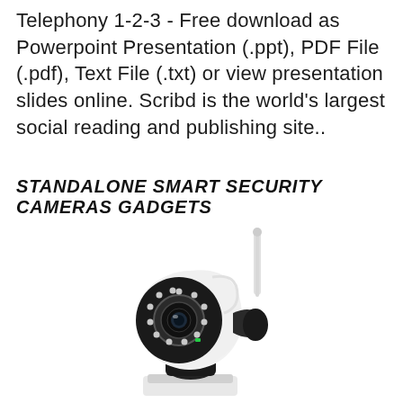Telephony 1-2-3 - Free download as Powerpoint Presentation (.ppt), PDF File (.pdf), Text File (.txt) or view presentation slides online. Scribd is the world's largest social reading and publishing site..
STANDALONE SMART SECURITY CAMERAS GADGETS
[Figure (photo): A standalone smart security camera with a white and black body, a dome-shaped head with a visible lens and ring of IR LEDs, a WiFi antenna on the right side, and a rotating base mount.]